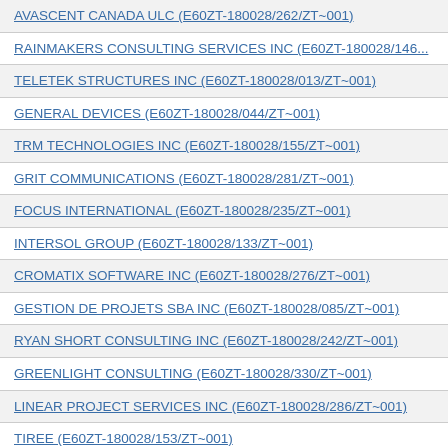| AVASCENT CANADA ULC (E60ZT-180028/262/ZT~001) |
| RAINMAKERS CONSULTING SERVICES INC (E60ZT-180028/146... |
| TELETEK STRUCTURES INC (E60ZT-180028/013/ZT~001) |
| GENERAL DEVICES (E60ZT-180028/044/ZT~001) |
| TRM TECHNOLOGIES INC (E60ZT-180028/155/ZT~001) |
| GRIT COMMUNICATIONS (E60ZT-180028/281/ZT~001) |
| FOCUS INTERNATIONAL (E60ZT-180028/235/ZT~001) |
| INTERSOL GROUP (E60ZT-180028/133/ZT~001) |
| CROMATIX SOFTWARE INC (E60ZT-180028/276/ZT~001) |
| GESTION DE PROJETS SBA INC (E60ZT-180028/085/ZT~001) |
| RYAN SHORT CONSULTING INC (E60ZT-180028/242/ZT~001) |
| GREENLIGHT CONSULTING (E60ZT-180028/330/ZT~001) |
| LINEAR PROJECT SERVICES INC (E60ZT-180028/286/ZT~001) |
| TIREE (E60ZT-180028/153/ZT~001) |
| GCSTRATEGIES (E60ZT-180028/099/ZT~001) |